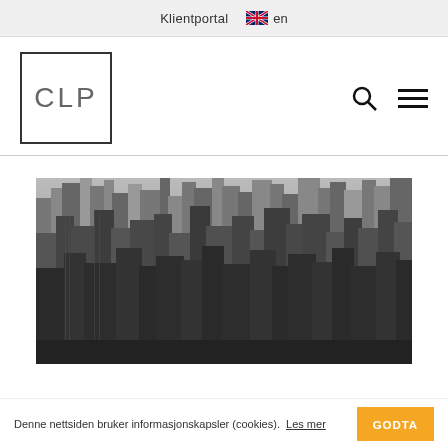Klientportal   en
[Figure (logo): CLP logo — letters CLP inside a square border]
[Figure (photo): Black and white aerial photo of New York City skyline with skyscrapers]
Denne nettsiden bruker informasjonskapsler (cookies).  Les mer  GODTA